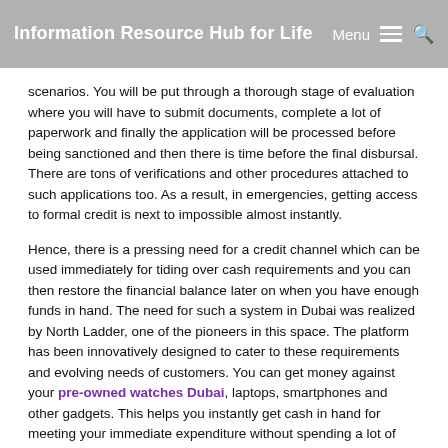Information Resource Hub for Life   Menu ☰ 🔍
scenarios. You will be put through a thorough stage of evaluation where you will have to submit documents, complete a lot of paperwork and finally the application will be processed before being sanctioned and then there is time before the final disbursal. There are tons of verifications and other procedures attached to such applications too. As a result, in emergencies, getting access to formal credit is next to impossible almost instantly.
Hence, there is a pressing need for a credit channel which can be used immediately for tiding over cash requirements and you can then restore the financial balance later on when you have enough funds in hand. The need for such a system in Dubai was realized by North Ladder, one of the pioneers in this space. The platform has been innovatively designed to cater to these requirements and evolving needs of customers. You can get money against your pre-owned watches Dubai, laptops, smartphones and other gadgets. This helps you instantly get cash in hand for meeting your immediate expenditure without spending a lot of time and money along with energy on applications for credit.
Sometimes, it is important to immediately address or resolve any